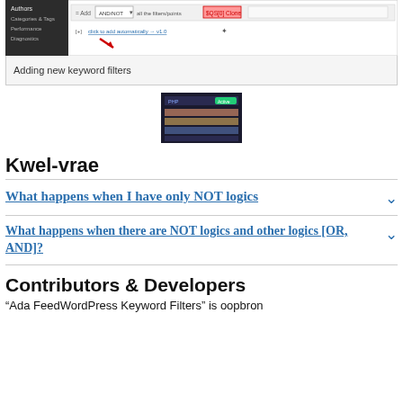[Figure (screenshot): Screenshot showing WordPress plugin interface with keyword filters, AND/NOT logic dropdown, and navigation menu on the left side. A red arrow points to a link element.]
Adding new keyword filters
[Figure (screenshot): Small dark-themed screenshot of a plugin settings page with colored rows and a green button.]
Kwel-vrae
What happens when I have only NOT logics
What happens when there are NOT logics and other logics [OR, AND]?
Contributors & Developers
“Ada FeedWordPress Keyword Filters” is oopbron